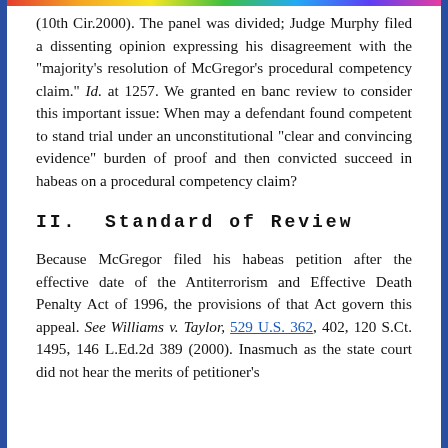(10th Cir.2000). The panel was divided; Judge Murphy filed a dissenting opinion expressing his disagreement with the "majority's resolution of McGregor's procedural competency claim." Id. at 1257. We granted en banc review to consider this important issue: When may a defendant found competent to stand trial under an unconstitutional "clear and convincing evidence" burden of proof and then convicted succeed in habeas on a procedural competency claim?
II.  Standard of Review
Because McGregor filed his habeas petition after the effective date of the Antiterrorism and Effective Death Penalty Act of 1996, the provisions of that Act govern this appeal. See Williams v. Taylor, 529 U.S. 362, 402, 120 S.Ct. 1495, 146 L.Ed.2d 389 (2000). Inasmuch as the state court did not hear the merits of petitioner's